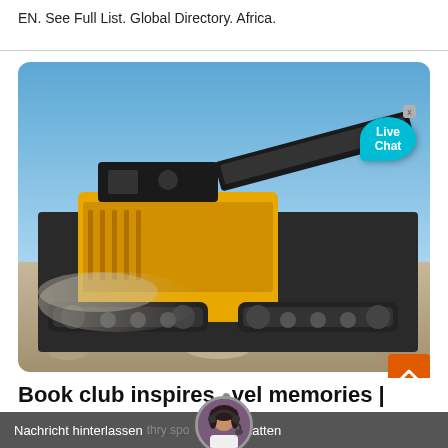EN. See Full List. Global Directory. Africa.
[Figure (photo): A large yellow mobile rock crusher / mining machine on a rocky dusty terrain under a clear blue sky, with a 'Live Chat' speech bubble overlay in the top right corner]
Book club inspires travel memories |
Nachricht hinterlassen  Online chatten